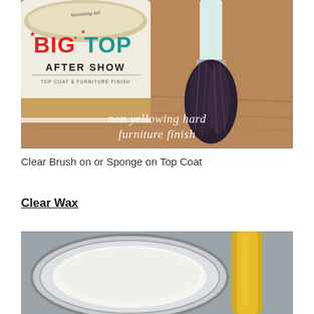[Figure (photo): A can of 'Big Top After Show' varnishing aide, top coat and furniture finish product, with a paint brush beside it on a wooden surface. Text overlay reads 'non yellowing hard furniture finish' in white cursive letters.]
Clear Brush on or Sponge on Top Coat
Clear Wax
[Figure (photo): Close-up of an open can of white/clear wax product with a yellow-handled applicator tool beside it, on a gray background.]